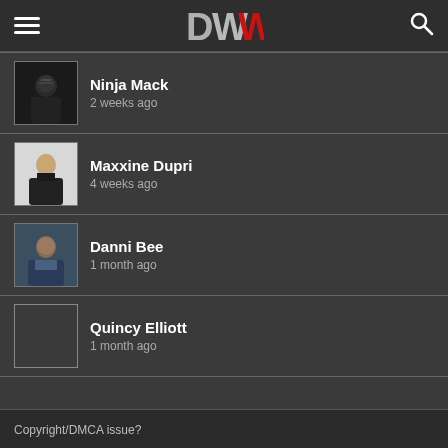DWW navigation header with hamburger menu, DWW logo, and search icon
Ninja Mack
2 weeks ago
Maxxine Dupri
4 weeks ago
Danni Bee
1 month ago
Quincy Elliott
1 month ago
Copyright/DMCA issue?